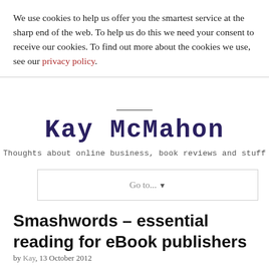We use cookies to help us offer you the smartest service at the sharp end of the web. To help us do this we need your consent to receive our cookies. To find out more about the cookies we use, see our privacy policy.
Kay McMahon
Thoughts about online business, book reviews and stuff
Go to... ▼
Smashwords – essential reading for eBook publishers
by Kay, 13 October 2012